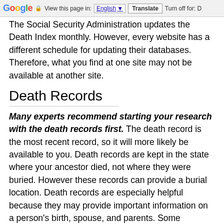Google | View this page in: English [▼] | Translate | Turn off for: D
The Social Security Administration updates the Death Index monthly. However, every website has a different schedule for updating their databases. Therefore, what you find at one site may not be available at another site.
Death Records
Many experts recommend starting your research with the death records first. The death record is the most recent record, so it will more likely be available to you. Death records are kept in the state where your ancestor died, not where they were buried. However these records can provide a burial location. Death records are especially helpful because they may provide important information on a person's birth, spouse, and parents. Some researchers look first for death records because there are often death